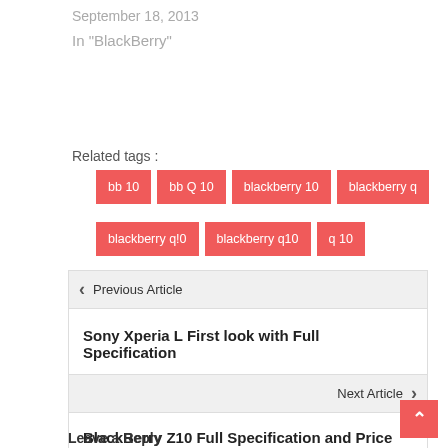September 18, 2013
In "BlackBerry"
Related tags :
bb 10
bb Q 10
blackberry 10
blackberry q
blackberry q!0
blackberry q10
q 10
Previous Article
Sony Xperia L First look with Full Specification
Next Article
BlackBerry Z10 Full Specification and Price
Leave a Reply